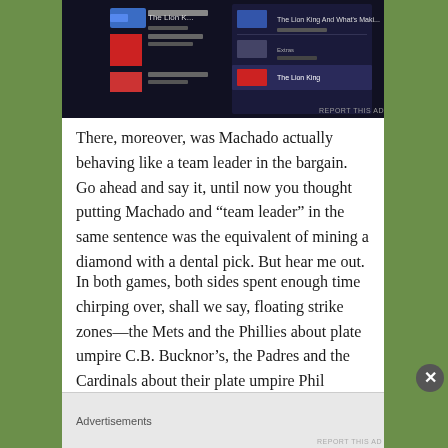[Figure (screenshot): Dark UI screenshot of a streaming/media app showing movie listings including 'The Lion King' entries, with dark background and red/blue UI elements]
REPORT THIS AD
There, moreover, was Machado actually behaving like a team leader in the bargain. Go ahead and say it, until now you thought putting Machado and “team leader” in the same sentence was the equivalent of mining a diamond with a dental pick. But hear me out.
In both games, both sides spent enough time chirping over, shall we say, floating strike zones—the Mets and the Phillies about plate umpire C.B. Bucknor’s, the Padres and the Cardinals about their plate umpire Phil Cuzzi’s. That isn’t exactly new business when it comes to that pair of arbiters.
But the worst out of either the Mets or the Phillies
Advertisements